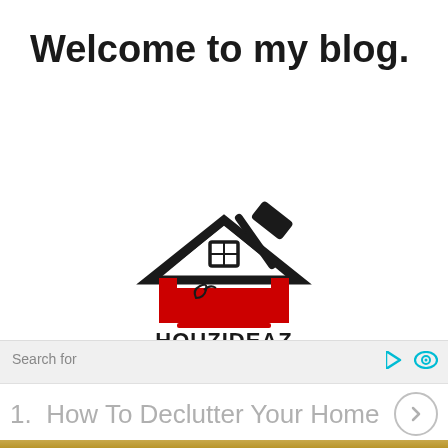Welcome to my blog.
[Figure (logo): HOUZIDEAZ logo: a house silhouette with a hammer on top and a couch/furniture inside, in black and red colors, with text HOUZIDEAZ below]
Search for
1.  How To Declutter Your Home